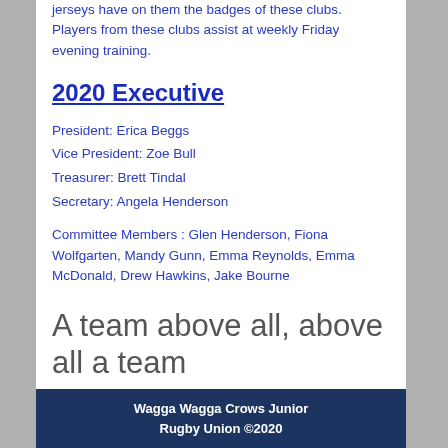jerseys have on them the badges of these clubs. Players from these clubs assist at weekly Friday evening training.
2020 Executive
President: Erica Beggs
Vice President: Zoe Bull
Treasurer: Brett Tindal
Secretary: Angela Henderson
Committee Members : Glen Henderson, Fiona Wolfgarten, Mandy Gunn, Emma Reynolds, Emma McDonald, Drew Hawkins, Jake Bourne
A team above all, above all a team
Wagga Wagga Crows Junior Rugby Union ©2020